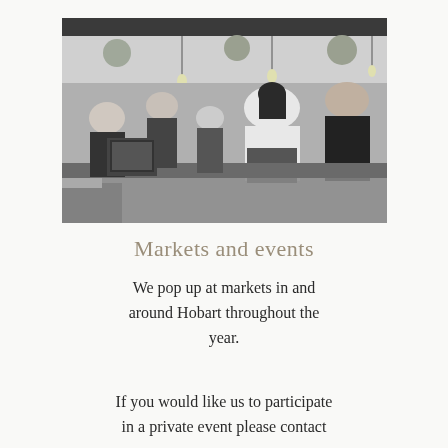[Figure (photo): Black and white photograph of a market stall scene. Two staff members with their backs to the camera serve customers across a counter. Decorative hanging lights and floral ball decorations are visible above. Several customers face the camera in the background.]
Markets and events
We pop up at markets in and around Hobart throughout the year.
If you would like us to participate in a private event please contact